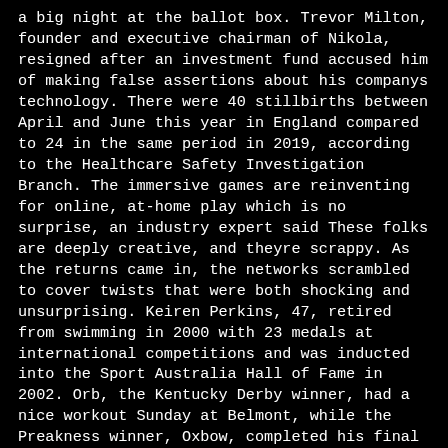a big night at the ballot box. Trevor Milton, founder and executive chairman of Nikola, resigned after an investment fund accused him of making false assertions about his companys technology. There were 40 stillbirths between April and June this year in England compared to 24 in the same period in 2019, according to the Healthcare Safety Investigation Branch. The immersive games are reinventing for online, at-home play which is no surprise, an industry expert said These folks are deeply creative, and theyre scrappy. As the returns came in, the networks scrambled to cover twists that were both shocking and unsurprising. Keiren Perkins, 47, retired from swimming in 2000 with 23 medals at international competitions and was inducted into the Sport Australia Hall of Fame in 2002. Orb, the Kentucky Derby winner, had a nice workout Sunday at Belmont, while the Preakness winner, Oxbow, completed his final preparations in Kentucky last week. Twitter, Facebook and YouTube remained on alert as the lack of a clear election result kept the online misinformation flowing. Professor Tim Spector (left), from King's College London, said there were 'positive signs' that the UK's second wave of coronavirus had already 'peaked'. The chef Jonathan